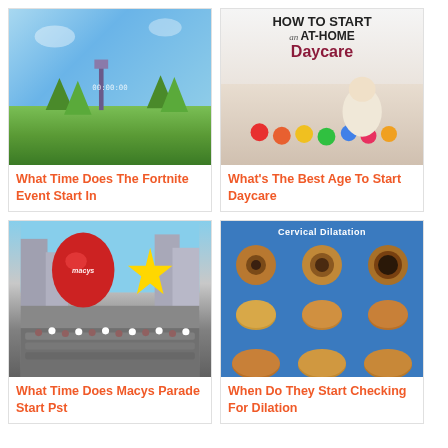[Figure (photo): Screenshot of Fortnite video game with sky and green landscape]
What Time Does The Fortnite Event Start In
[Figure (photo): Text graphic saying HOW TO START an AT-HOME Daycare with baby sitting on carpet with colorful balls]
What's The Best Age To Start Daycare
[Figure (photo): Macy's Thanksgiving Day Parade with star balloon, red balloon, and marching band crowd on New York City street]
What Time Does Macys Parade Start Pst
[Figure (photo): Cervical Dilatation medical model board showing discs of increasing size on blue background]
When Do They Start Checking For Dilation